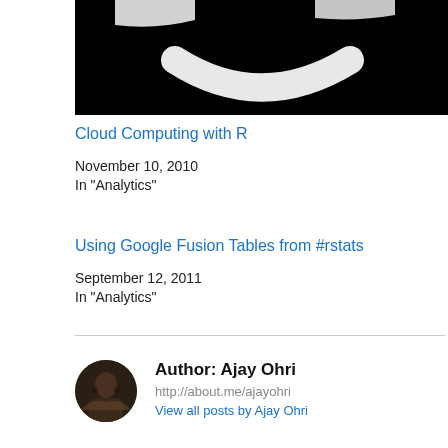[Figure (photo): Partial black background image showing white curved shapes resembling a smiley face (cut off at top)]
Cloud Computing with R
November 10, 2010
In "Analytics"
Using Google Fusion Tables from #rstats
September 12, 2011
In "Analytics"
Author: Ajay Ohri
http://about.me/ajayohri
View all posts by Ajay Ohri